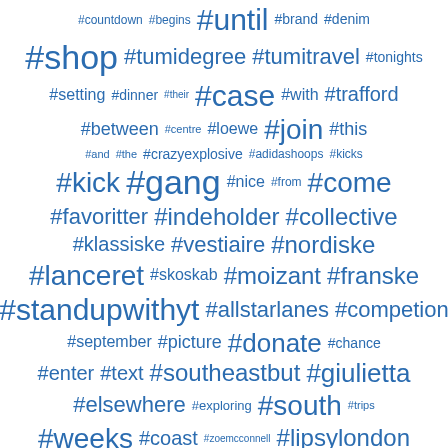[Figure (infographic): Word cloud of hashtags in various sizes, all in blue color on white background. Tags include: #countdown, #begins, #until, #brand, #denim, #shop, #tumidegree, #tumitravel, #tonights, #setting, #dinner, #their, #case, #with, #trafford, #between, #centre, #loewe, #join, #this, #and, #the, #crazyexplosive, #adidashoops, #kicks, #kick, #gang, #nice, #from, #come, #favoritter, #indeholder, #collective, #klassiske, #vestiaire, #nordiske, #lanceret, #skoskab, #moizant, #franske, #standupwithyt, #allstarlanes, #competion, #september, #picture, #donate, #chance, #enter, #text, #southeastbut, #giulietta, #elsewhere, #exploring, #south, #trips, #weeks, #coast, #zoemcconnell, #lipsylondon, #shoot, #such, #shot, #bts, #fun, #goldilocksg, #goodnight, #tomorrow, #yahoooo, #kegrand, #milano, #cannot, #ladies, #legs, #tabithasimmons]